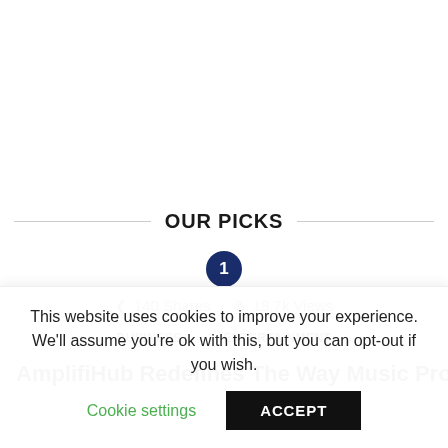OUR PICKS
1
140 Shares  18.7k Views
BUSINESS  .  ENTERTAINMENT
AmplifiHub Redefines The Way Music Producers in
This website uses cookies to improve your experience. We'll assume you're ok with this, but you can opt-out if you wish.
Cookie settings  ACCEPT